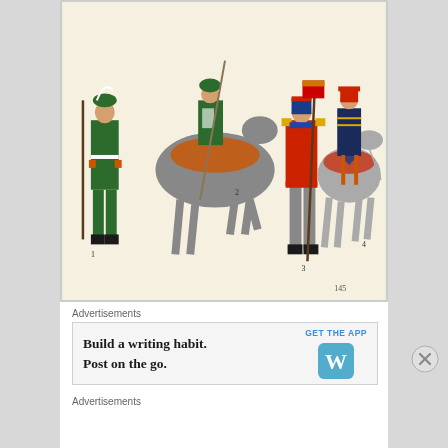[Figure (illustration): Historical military uniform illustration showing 4 soldiers in colorful 19th century cavalry uniforms with horses. Soldiers numbered 1-4: soldier 1 in green uniform with white belt, soldier 2 on horseback in green/orange uniform, soldier 3 in red and grey uniform holding a staff, soldier 4 on horseback in dark blue/red uniform. Plate number 145 visible bottom right.]
Advertisements
[Figure (screenshot): WordPress app advertisement banner. Text reads: 'Build a writing habit. Post on the go.' with a 'GET THE APP' call to action button in blue and the WordPress 'W' logo icon in a blue rounded square.]
Advertisements